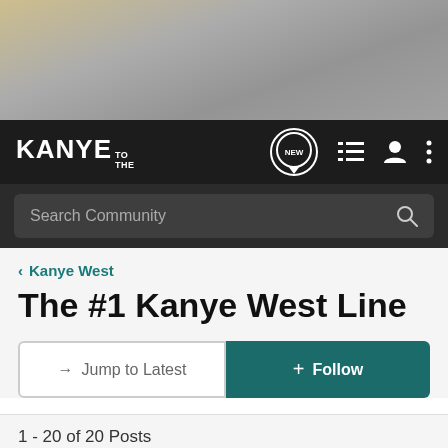[Figure (photo): Banner/header image with muted gray and tan tones, appears to be a blurred crowd or performers photo]
KANYE TO THE | NEW | nav icons
Search Community
< Kanye West
The #1 Kanye West Line
→ Jump to Latest
+ Follow
1 - 20 of 20 Posts
BBC · Registered
Joined Oct 8, 2010 · 99,388 Posts